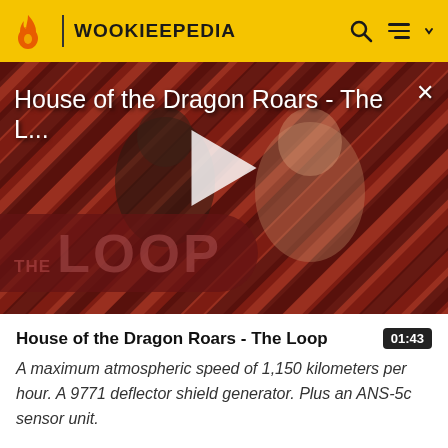WOOKIEEPEDIA
[Figure (screenshot): Video thumbnail for 'House of the Dragon Roars - The Loop' showing two characters against a striped red and black background with THE LOOP branding and a play button overlay]
House of the Dragon Roars - The Loop
A maximum atmospheric speed of 1,150 kilometers per hour. A 9771 deflector shield generator. Plus an ANS-5c sensor unit.